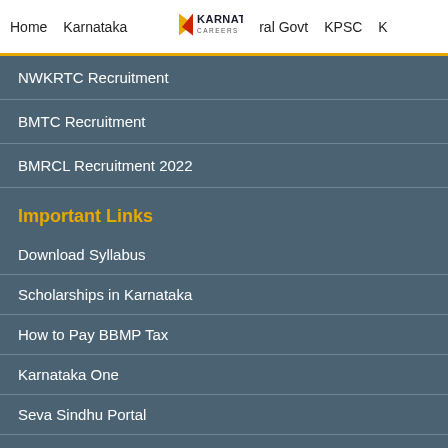Home  Karnataka  Karnataka Careers  ral Govt  KPSC  K
NWKRTC Recruitment
BMTC Recruitment
BMRCL Recruitment 2022
Important Links
Download Syllabus
Scholarships in Karnataka
How to Pay BBMP Tax
Karnataka One
Seva Sindhu Portal
Karnataka RTO Codes List
Top 10 Ways to Earn